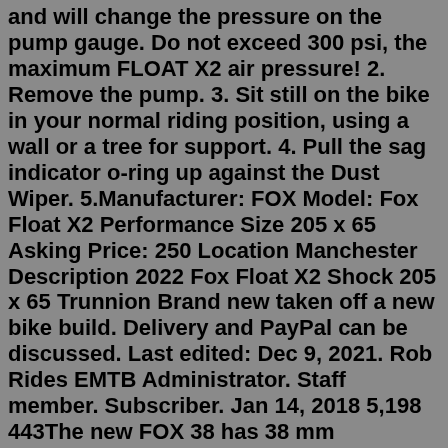and will change the pressure on the pump gauge. Do not exceed 300 psi, the maximum FLOAT X2 air pressure! 2. Remove the pump. 3. Sit still on the bike in your normal riding position, using a wall or a tree for support. 4. Pull the sag indicator o-ring up against the Dust Wiper. 5.Manufacturer: FOX Model: Fox Float X2 Performance Size 205 x 65 Asking Price: 250 Location Manchester Description 2022 Fox Float X2 Shock 205 x 65 Trunnion Brand new taken off a new bike build. Delivery and PayPal can be discussed. Last edited: Dec 9, 2021. Rob Rides EMTB Administrator. Staff member. Subscriber. Jan 14, 2018 5,198 443The new FOX 38 has 38 mm stanchions and is FOX's new fork for enduro duties with 160-180 mm of travel. It will be available in Factory, Performance Elite, Performance, and E-Bike models with GRIP2 and GRIP dampers, in 27.5 and 29" options. FOX will now only be using tapered steerers on their gravity forks, with no 1 ⅛ steerer option.The Performance Series shock has the 2-position climb switch, low speed compression, and low